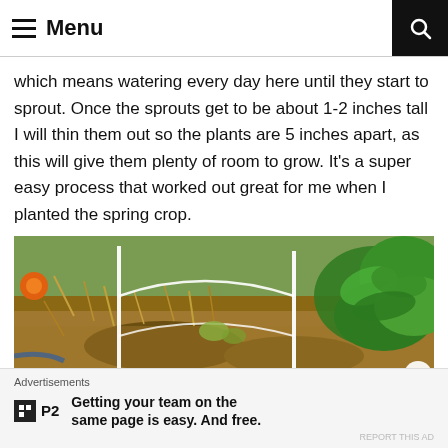☰ Menu
which means watering every day here until they start to sprout. Once the sprouts get to be about 1-2 inches tall I will thin them out so the plants are 5 inches apart, as this will give them plenty of room to grow. It's a super easy process that worked out great for me when I planted the spring crop.
[Figure (photo): Garden bed with white wire/stake supports, dry soil, green plants visible on the right side, and an orange flower on the left.]
Advertisements
Getting your team on the same page is easy. And free.